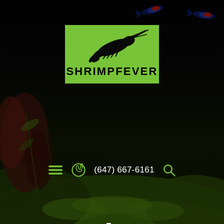[Figure (screenshot): ShrimpFever website header screenshot showing a dark background with aquatic plants and fish, a green logo with shrimp illustration and SHRIMPFEVER text, navigation icons, phone number, and Package Deals hero title with breadcrumb navigation.]
Package Deals
Home / Shop / Package Deals